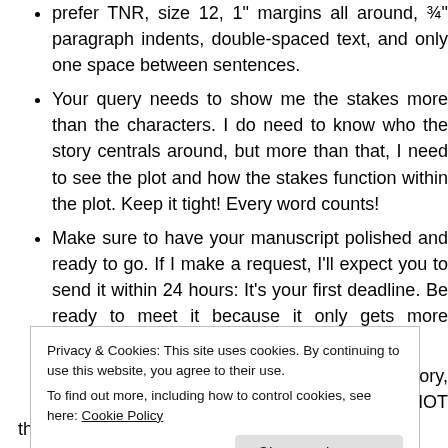prefer TNR, size 12, 1" margins all around, ¾" paragraph indents, double-spaced text, and only one space between sentences.
Your query needs to show me the stakes more than the characters. I do need to know who the story centrals around, but more than that, I need to see the plot and how the stakes function within the plot. Keep it tight! Every word counts!
Make sure to have your manuscript polished and ready to go. If I make a request, I'll expect you to send it within 24 hours: It's your first deadline. Be ready to meet it because it only gets more intense from here!
If you're not sure if I'd be interested in your story, ask me!! @destinywrites. Seriously, DO NOT hesitate to @ me
Privacy & Cookies: This site uses cookies. By continuing to use this website, you agree to their use. To find out more, including how to control cookies, see here: Cookie Policy
that's the only way growth is going to happen! I'm honest, but